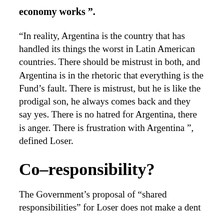economy works ”.
“In reality, Argentina is the country that has handled its things the worst in Latin American countries. There should be mistrust in both, and Argentina is in the rhetoric that everything is the Fund’s fault. There is mistrust, but he is like the prodigal son, he always comes back and they say yes. There is no hatred for Argentina, there is anger. There is frustration with Argentina ”, defined Loser.
Co-responsibility?
The Government’s proposal of “shared responsibilities” for Loser does not make a dent